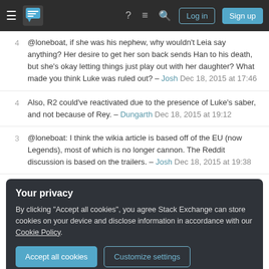Stack Exchange navigation bar with hamburger menu, logo, help, chat, search icons, Log in and Sign up buttons
@loneboat, if she was his nephew, why wouldn't Leia say anything? Her desire to get her son back sends Han to his death, but she's okay letting things just play out with her daughter? What made you think Luke was ruled out? – Josh Dec 18, 2015 at 17:46
Also, R2 could've reactivated due to the presence of Luke's saber, and not because of Rey. – Dungarth Dec 18, 2015 at 19:12
@loneboat: I think the wikia article is based off of the EU (now Legends), most of which is no longer cannon. The Reddit discussion is based on the trailers. – Josh Dec 18, 2015 at 19:38
Your privacy
By clicking "Accept all cookies", you agree Stack Exchange can store cookies on your device and disclose information in accordance with our Cookie Policy.
Accept all cookies   Customize settings
Two things that occurred to me that aren't in the